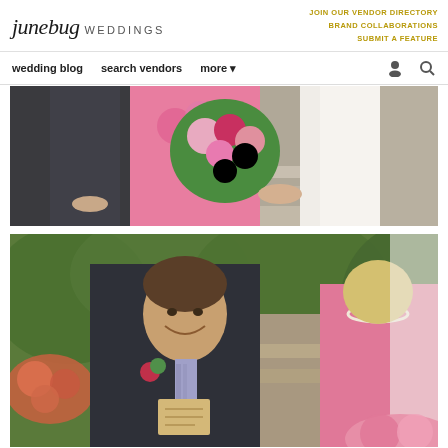junebug WEDDINGS | JOIN OUR VENDOR DIRECTORY | BRAND COLLABORATIONS | SUBMIT A FEATURE
wedding blog  search vendors  more
[Figure (photo): Wedding photo showing the lower half of a groom in a dark suit holding hands with a bride in white lace dress, with a bridesmaid in a pink lace dress holding a large pink and red floral bouquet, standing on stone steps.]
[Figure (photo): Wedding photo showing a smiling groom in a dark suit with a floral boutonniere and patterned tie, reading from a card or letter, with a bridesmaid in pink lace dress and the bride in white partially visible in the background, with lush green garden setting.]